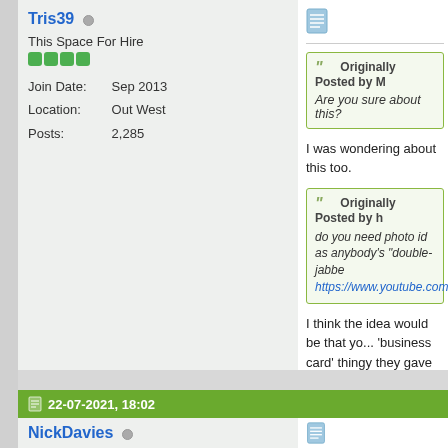Tris39
This Space For Hire
Join Date: Sep 2013
Location: Out West
Posts: 2,285
[Figure (screenshot): Quote box: Originally Posted by M... - Are you sure about this?]
I was wondering about this too.
[Figure (screenshot): Quote box: Originally Posted by h... - do you need photo id as anybody's "double-jabbe... https://www.youtube.com...]
I think the idea would be that yo... 'business card' thingy they gave
22-07-2021, 18:02
NickDavies
This Space For Hire
Join Date: Jan 2010
[Figure (screenshot): Quote box start: Originally Posted by Tr...]